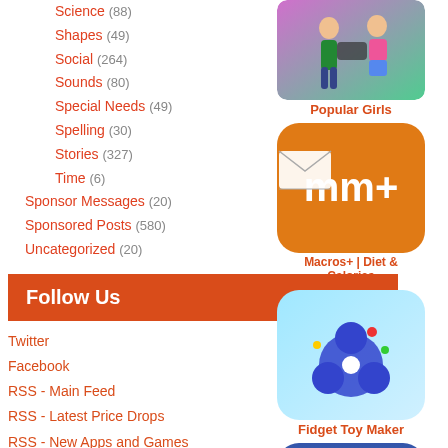Science (88)
Shapes (49)
Social (264)
Sounds (80)
Special Needs (49)
Spelling (30)
Stories (327)
Time (6)
Sponsor Messages (20)
Sponsored Posts (580)
Uncategorized (20)
Follow Us
Twitter
Facebook
RSS - Main Feed
RSS - Latest Price Drops
RSS - New Apps and Games
RSS - Top Free iPhone Apps
RSS - Top Free iPhone Games
RSS - Top Paid iPhone Apps
RSS - Top Paid iPhone Games
[Figure (photo): Popular Girls app icon showing two cartoon girls]
Popular Girls
[Figure (photo): MM+ app icon showing mm+ logo on orange background]
Macros+ | Diet & Calories
[Figure (photo): Fidget Toy Maker app icon]
Fidget Toy Maker
[Figure (photo): Race Master 3D - Car Racing app icon showing yellow sports car]
Race Master 3D - Car Racing
[Figure (photo): Partial app icon at bottom of page]